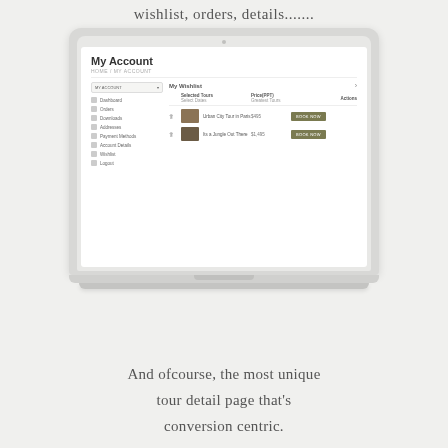wishlist, orders, details.......
[Figure (screenshot): Laptop mockup showing a 'My Account' page with a wishlist section. The screen shows a sidebar with navigation items (Dashboard, Orders, Downloads, Addresses, Payment Methods, Account Details, Wishlist, Logout) and a main area titled 'My Wishlist' with two tour items listed: 'Urban City Tour in Paris' and 'Its a Jungle Out There', each with a price and a 'Book Now' button.]
And ofcourse, the most unique tour detail page that's conversion centric.